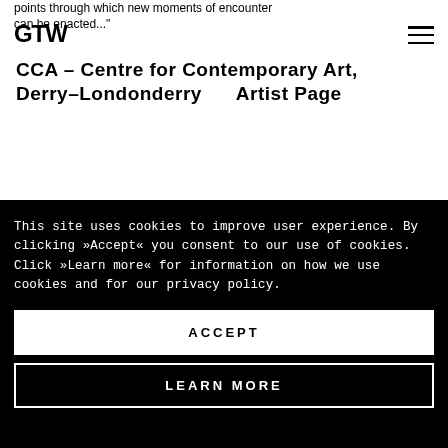points through which new moments of encounter can be enacted..."
GTW
CCA – Centre for Contemporary Art, Derry–Londonderry      Artist Page
This site uses cookies to improve user experience. By clicking »Accept« you consent to our use of cookies. Click »Learn more« for information on how we use cookies and for our privacy policy.
ACCEPT
LEARN MORE